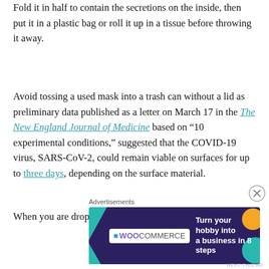Fold it in half to contain the secretions on the inside, then put it in a plastic bag or roll it up in a tissue before throwing it away.
Avoid tossing a used mask into a trash can without a lid as preliminary data published as a letter on March 17 in the The New England Journal of Medicine based on “10 experimental conditions,” suggested that the COVID-19 virus, SARS-CoV-2, could remain viable on surfaces for up to three days, depending on the surface material.
When you are dropping the used mask into a bin,
Advertisements
[Figure (other): WooCommerce advertisement banner with text 'Turn your hobby into a business in 8 steps' on dark purple background with colorful geometric shapes]